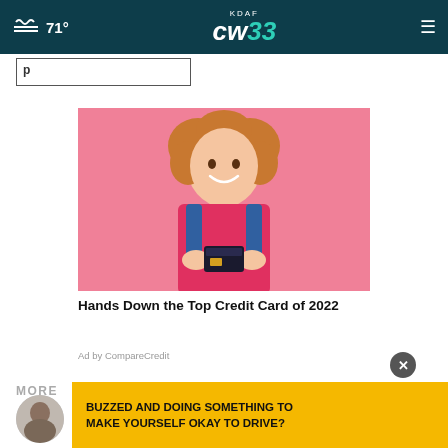71° KDAF CW 33
[Figure (screenshot): Partially visible search/input box below header]
[Figure (photo): Young woman with curly hair smiling and holding a credit card, against a pink background]
Hands Down the Top Credit Card of 2022
Ad by CompareCredit
MORE
[Figure (infographic): Yellow banner ad with bold text: BUZZED AND DOING SOMETHING TO MAKE YOURSELF OKAY TO DRIVE?]
This is the most popular 'nerdy'